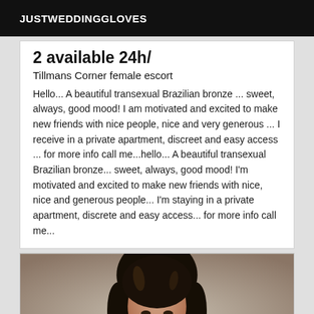JUSTWEDDINGGLOVES
2 available 24h/
Tillmans Corner female escort
Hello... A beautiful transexual Brazilian bronze ... sweet, always, good mood! I am motivated and excited to make new friends with nice people, nice and very generous ... I receive in a private apartment, discreet and easy access ... for more info call me...hello... A beautiful transexual Brazilian bronze... sweet, always, good mood! I'm motivated and excited to make new friends with nice, nice and generous people... I'm staying in a private apartment, discrete and easy access... for more info call me...
[Figure (photo): Portrait photo of a woman with dark long hair, partial view from top]